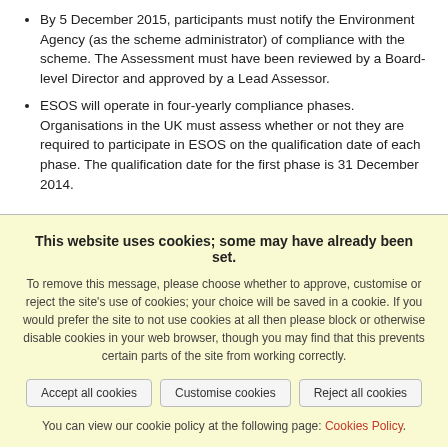By 5 December 2015, participants must notify the Environment Agency (as the scheme administrator) of compliance with the scheme. The Assessment must have been reviewed by a Board-level Director and approved by a Lead Assessor.
ESOS will operate in four-yearly compliance phases. Organisations in the UK must assess whether or not they are required to participate in ESOS on the qualification date of each phase. The qualification date for the first phase is 31 December 2014.
This website uses cookies; some may have already been set.
To remove this message, please choose whether to approve, customise or reject the site's use of cookies; your choice will be saved in a cookie. If you would prefer the site to not use cookies at all then please block or otherwise disable cookies in your web browser, though you may find that this prevents certain parts of the site from working correctly.
You can view our cookie policy at the following page: Cookies Policy.